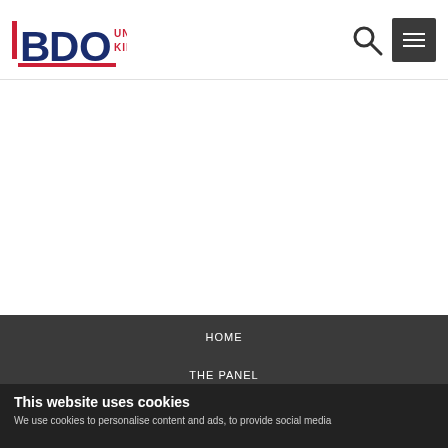[Figure (logo): BDO United Kingdom logo with red and navy text and red underline accent]
>
HOME
THE PANEL
This website uses cookies
We use cookies to personalise content and ads, to provide social media